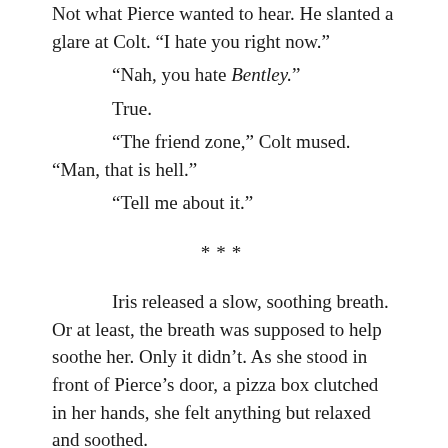Not what Pierce wanted to hear. He slanted a glare at Colt. “I hate you right now.”
“Nah, you hate Bentley.”
True.
“The friend zone,” Colt mused. “Man, that is hell.”
“Tell me about it.”
***
Iris released a slow, soothing breath. Or at least, the breath was supposed to help soothe her. Only it didn’t. As she stood in front of Pierce’s door, a pizza box clutched in her hands, she felt anything but relaxed and soothed.